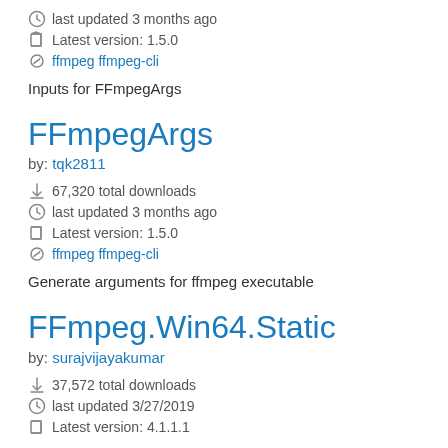last updated 3 months ago
Latest version: 1.5.0
ffmpeg ffmpeg-cli
Inputs for FFmpegArgs
FFmpegArgs
by: tqk2811
67,320 total downloads
last updated 3 months ago
Latest version: 1.5.0
ffmpeg ffmpeg-cli
Generate arguments for ffmpeg executable
FFmpeg.Win64.Static
by: surajvijayakumar
37,572 total downloads
last updated 3/27/2019
Latest version: 4.1.1.1